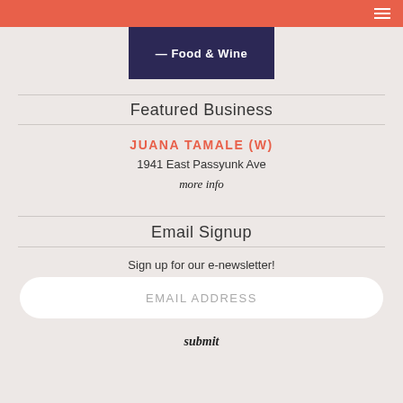Navigation bar with hamburger menu
[Figure (illustration): Dark navy banner with white bold text reading '— Food & Wine']
Featured Business
JUANA TAMALE (W)
1941 East Passyunk Ave
more info
Email Signup
Sign up for our e-newsletter!
EMAIL ADDRESS
submit